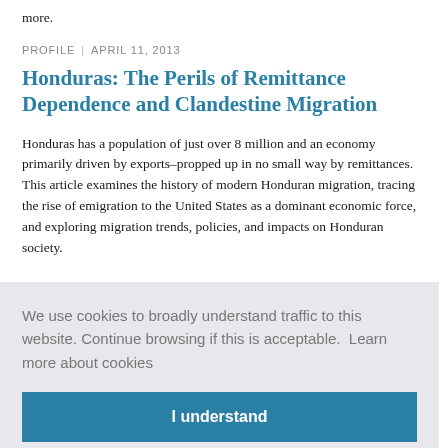more.
PROFILE | APRIL 11, 2013
Honduras: The Perils of Remittance Dependence and Clandestine Migration
Honduras has a population of just over 8 million and an economy primarily driven by exports–propped up in no small way by remittances. This article examines the history of modern Honduran migration, tracing the rise of emigration to the United States as a dominant economic force, and exploring migration trends, policies, and impacts on Honduran society.
We use cookies to broadly understand traffic to this website. Continue browsing if this is acceptable.  Learn more about cookies
I understand
state of health overall than might be expected, given their socioeconomic